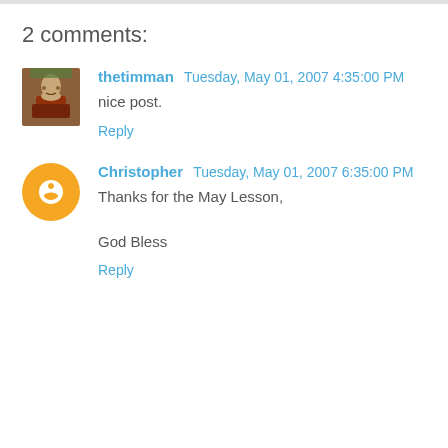2 comments:
thetimman  Tuesday, May 01, 2007 4:35:00 PM
nice post.
Reply
Christopher  Tuesday, May 01, 2007 6:35:00 PM
Thanks for the May Lesson,

God Bless
Reply